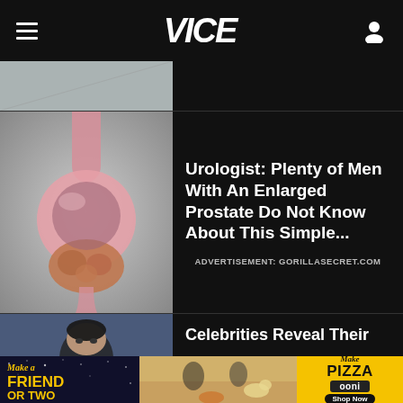VICE
[Figure (photo): Partial top image, metallic/abstract background, cropped]
[Figure (illustration): Medical illustration of enlarged prostate, cross-section anatomical view, pink tones on grey background]
Urologist: Plenty of Men With An Enlarged Prostate Do Not Know About This Simple...
ADVERTISEMENT: GORILLASECRET.COM
[Figure (photo): Celebrity portrait, face partially visible, dark background]
Celebrities Reveal Their
[Figure (infographic): Advertisement banner: Make a Friend or Two / outdoor picnic scene with dog / Make Pizza - ooni - Shop Now]